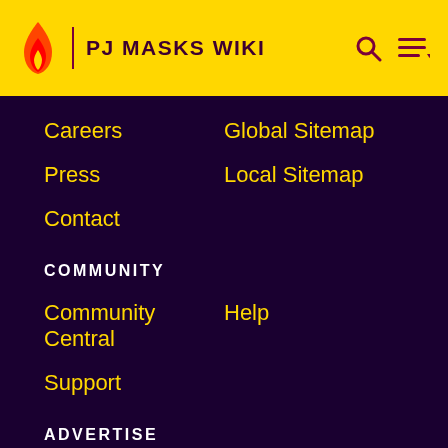PJ MASKS WIKI
Careers
Global Sitemap
Press
Local Sitemap
Contact
COMMUNITY
Community Central
Help
Support
ADVERTISE
Media Kit
Fandomatic
Contact